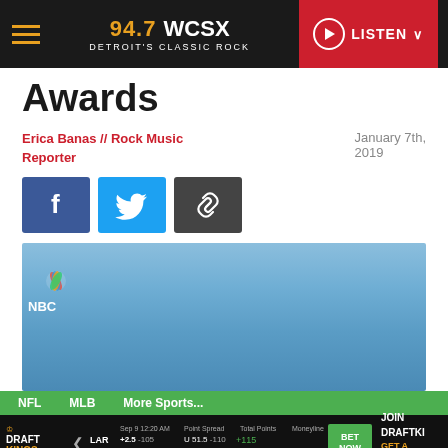94.7 WCSX DETROIT'S CLASSIC ROCK
Awards
Erica Banas // Rock Music Reporter
January 7th, 2019
[Figure (screenshot): Social sharing buttons: Facebook, Twitter, Link]
[Figure (photo): Photo of Lady Gaga at the Golden Globe Awards holding a Golden Globe trophy, NBC backdrop visible, wearing a lavender dress]
NFL  MLB  More Sports...
DraftKings Sportsbook — Sep 9 12:20 AM — LAR +2.5 -105 vs BUF -2.5 -115 — Total Points U 51.5 -110 / O 51.5 -110 — Moneyline +115 / -135 — BET NOW — JOIN DRAFTKINGS GET A DEPOSIT — View Full Terms